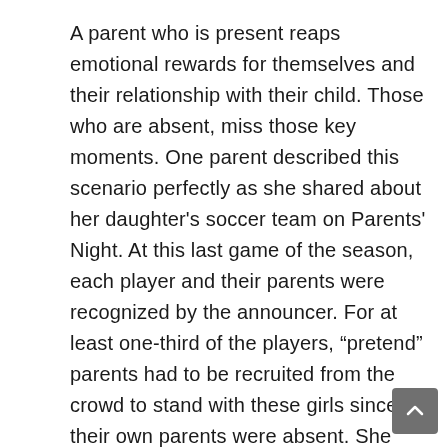A parent who is present reaps emotional rewards for themselves and their relationship with their child. Those who are absent, miss those key moments. One parent described this scenario perfectly as she shared about her daughter's soccer team on Parents' Night. At this last game of the season, each player and their parents were recognized by the announcer. For at least one-third of the players, “pretend” parents had to be recruited from the crowd to stand with these girls since their own parents were absent. She went on to say that despite putting in crazy hours at work and “doing it for the kids,” some